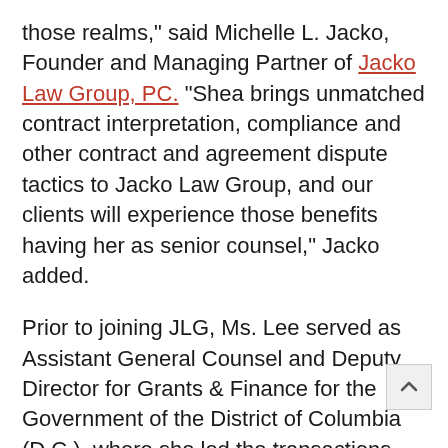those realms," said Michelle L. Jacko, Founder and Managing Partner of Jacko Law Group, PC. "Shea brings unmatched contract interpretation, compliance and other contract and agreement dispute tactics to Jacko Law Group, and our clients will experience those benefits having her as senior counsel," Jacko added.
Prior to joining JLG, Ms. Lee served as Assistant General Counsel and Deputy Director for Grants & Finance for the Government of the District of Columbia (D.C.), where she led the transactions division and drafted, negotiated, and managed all contracts and grant agreements between D.C. and the federal government, as well as